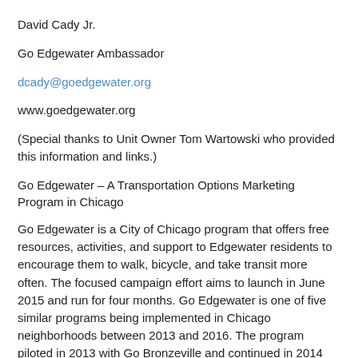David Cady Jr.
Go Edgewater Ambassador
dcady@goedgewater.org
www.goedgewater.org
(Special thanks to Unit Owner Tom Wartowski who provided this information and links.)
Go Edgewater – A Transportation Options Marketing Program in Chicago
Go Edgewater is a City of Chicago program that offers free resources, activities, and support to Edgewater residents to encourage them to walk, bicycle, and take transit more often. The focused campaign effort aims to launch in June 2015 and run for four months. Go Edgewater is one of five similar programs being implemented in Chicago neighborhoods between 2013 and 2016. The program piloted in 2013 with Go Bronzeville and continued in 2014 with Go Pilsen.